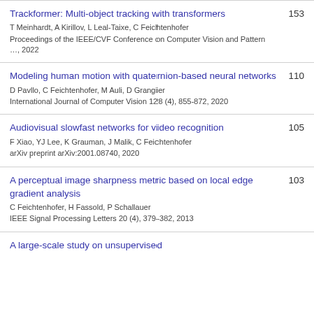Trackformer: Multi-object tracking with transformers
T Meinhardt, A Kirillov, L Leal-Taixe, C Feichtenhofer
Proceedings of the IEEE/CVF Conference on Computer Vision and Pattern …, 2022
153
Modeling human motion with quaternion-based neural networks
D Pavllo, C Feichtenhofer, M Auli, D Grangier
International Journal of Computer Vision 128 (4), 855-872, 2020
110
Audiovisual slowfast networks for video recognition
F Xiao, YJ Lee, K Grauman, J Malik, C Feichtenhofer
arXiv preprint arXiv:2001.08740, 2020
105
A perceptual image sharpness metric based on local edge gradient analysis
C Feichtenhofer, H Fassold, P Schallauer
IEEE Signal Processing Letters 20 (4), 379-382, 2013
103
A large-scale study on unsupervised…
89